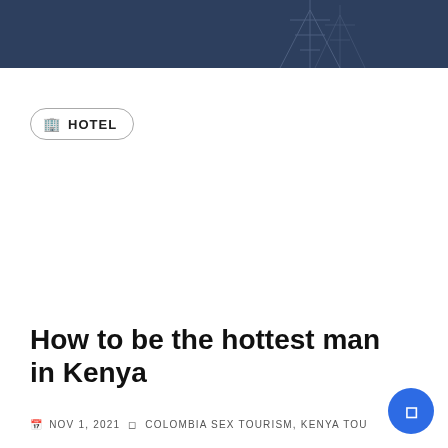[Figure (photo): Dark navy blue header banner with a faint outline of a communications tower visible on the right side]
🏨  HOTEL
How to be the hottest man in Kenya
🗓 NOV 1, 2021  🗓 COLOMBIA SEX TOURISM, KENYA TOURISM,